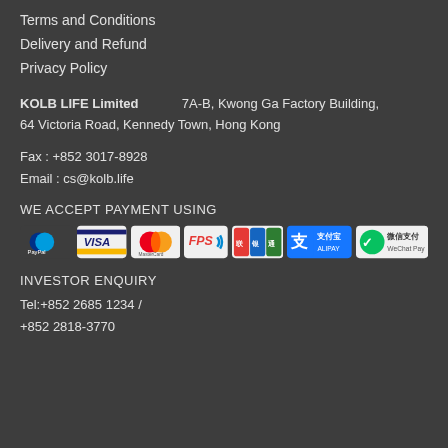Terms and Conditions
Delivery and Refund
Privacy Policy
KOLB LIFE Limited    7A-B, Kwong Ga Factory Building, 64 Victoria Road, Kennedy Town, Hong Kong
Fax : +852 3017-8928
Email : cs@kolb.life
WE ACCEPT PAYMENT USING
[Figure (logo): Payment method logos: PayPal, Visa, MasterCard, FPS, UnionPay, Alipay, WeChat Pay]
INVESTOR ENQUIRY
Tel:+852 2685 1234 / +852 2818-3770